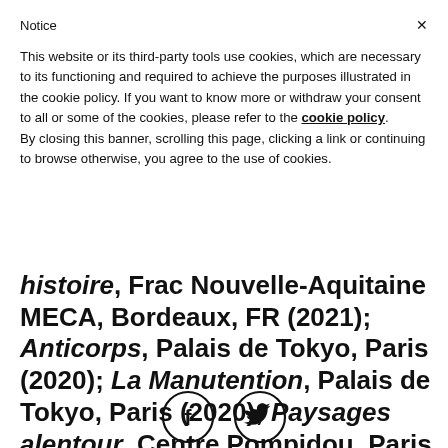Notice
This website or its third-party tools use cookies, which are necessary to its functioning and required to achieve the purposes illustrated in the cookie policy. If you want to know more or withdraw your consent to all or some of the cookies, please refer to the cookie policy.
By closing this banner, scrolling this page, clicking a link or continuing to browse otherwise, you agree to the use of cookies.
histoire, Frac Nouvelle-Aquitaine MECA, Bordeaux, FR (2021); Anticorps, Palais de Tokyo, Paris (2020); La Manutention, Palais de Tokyo, Paris (2020); Paysages alentour, Centre Pompidou, Paris (2020); Bienvenu(e) d'WIELS, Bruxelles (2020)
[Figure (other): Social media icons: Facebook (f) and Twitter (bird) in circular outlines]